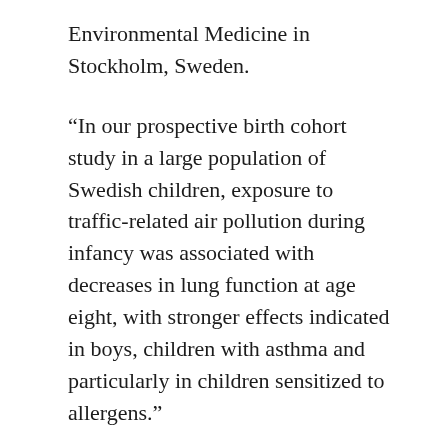Environmental Medicine in Stockholm, Sweden.
“In our prospective birth cohort study in a large population of Swedish children, exposure to traffic-related air pollution during infancy was associated with decreases in lung function at age eight, with stronger effects indicated in boys, children with asthma and particularly in children sensitized to allergens.”
The findings were published online ahead of print publication in the American Thoracic Society’s American Journal of Respiratory and Critical Care Medicine.
The study included more than 1,900 children